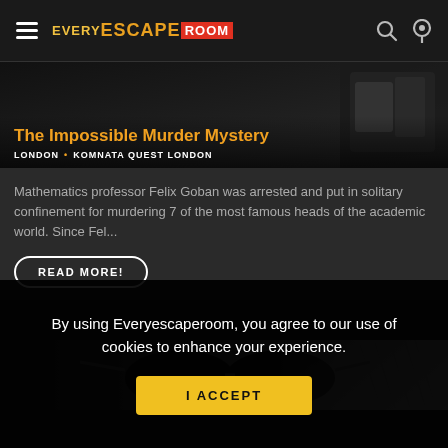EVERY ESCAPE ROOM
The Impossible Murder Mystery
LONDON • KOMNATA QUEST LONDON
Mathematics professor Felix Goban was arrested and put in solitary confinement for murdering 7 of the most famous heads of the academic world. Since Fel...
READ MORE!
[Figure (photo): Dark atmospheric photo — close-up of a person wearing sunglasses with dramatic lighting, black and white tones]
By using Everyescaperoom, you agree to our use of cookies to enhance your experience.
I ACCEPT